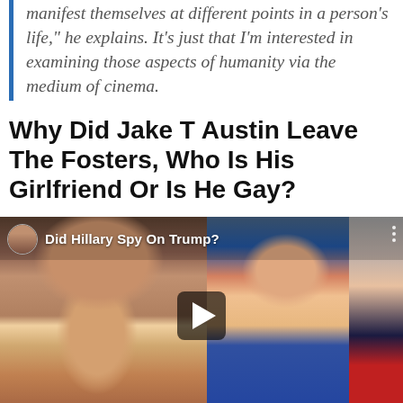manifest themselves at different points in a person's life," he explains. It's just that I'm interested in examining those aspects of humanity via the medium of cinema.
Why Did Jake T Austin Leave The Fosters, Who Is His Girlfriend Or Is He Gay?
[Figure (screenshot): Video thumbnail showing a man with long curly hair and a beanie on the left, a woman in the center, and a man in a suit on the right. Overlay text reads 'Did Hillary Spy On Trump?' with a play button in the center. A small circular avatar and channel name appear at the top left.]